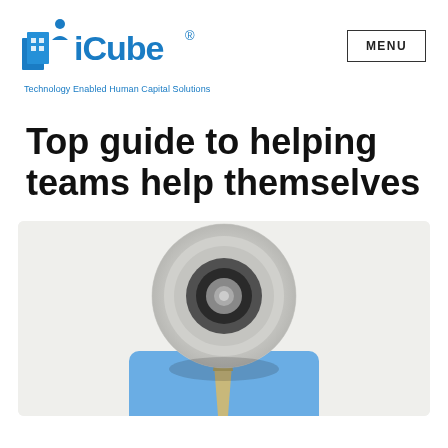[Figure (logo): iCube logo with blue building icon and blue registered trademark symbol, with tagline 'Technology Enabled Human Capital Solutions']
Top guide to helping teams help themselves
[Figure (photo): A person in a blue shirt and tie holding a megaphone (bullhorn) up to their face, obscuring their head, against a light gray background]